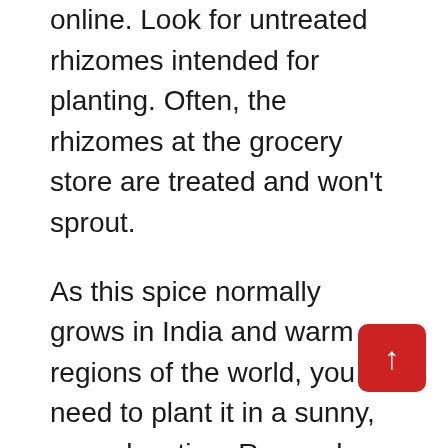online. Look for untreated rhizomes intended for planting. Often, the rhizomes at the grocery store are treated and won't sprout.
As this spice normally grows in India and warm regions of the world, you need to plant it in a sunny, warm location. Remember, this plant has a long growing season. Temperatures need to stay consistently within the right growing range for a long time.
Turmeric needs 8-10 months of frost-free conditions and 70°F temperatures and above in order to produce a harvest. If you don't have that long of a growing season, you'll need to bring the plant indoors during the cooler weather.
The best time to plant turmeric is in spring, around...